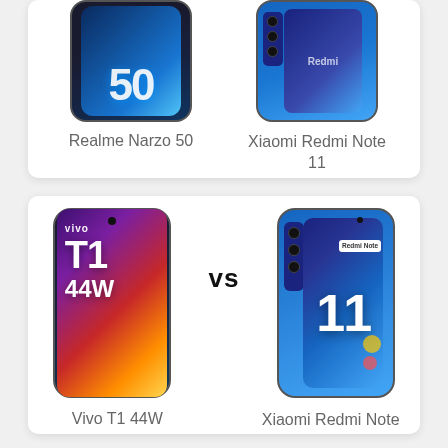[Figure (photo): Top comparison card (partially visible): Realme Narzo 50 vs Xiaomi Redmi Note 11 phone images]
Realme Narzo 50
Xiaomi Redmi Note 11
[Figure (photo): Bottom comparison card: Vivo T1 44W vs Xiaomi Redmi Note 11 phone images with VS label in center]
Vivo T1 44W
Xiaomi Redmi Note 11